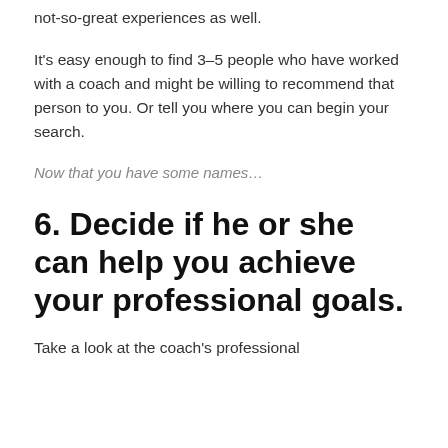not-so-great experiences as well.
It's easy enough to find 3–5 people who have worked with a coach and might be willing to recommend that person to you. Or tell you where you can begin your search.
Now that you have some names…
6. Decide if he or she can help you achieve your professional goals.
Take a look at the coach's professional